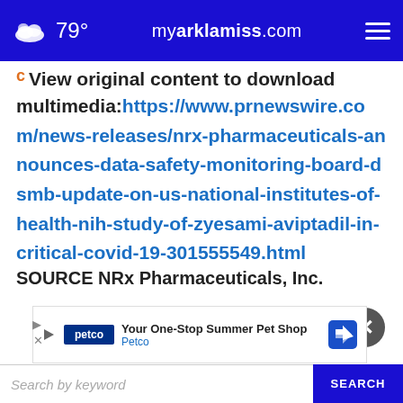79° myarklamiss.com
View original content to download multimedia: https://www.prnewswire.com/news-releases/nrx-pharmaceuticals-announces-data-safety-monitoring-board-dsmb-update-on-us-national-institutes-of-health-nih-study-of-zyesami-aviptadil-in-critical-covid-19-301555549.html
SOURCE NRx Pharmaceuticals, Inc.
[Figure (screenshot): Petco advertisement banner: 'Your One-Stop Summer Pet Shop' with Petco logo and navigation icon]